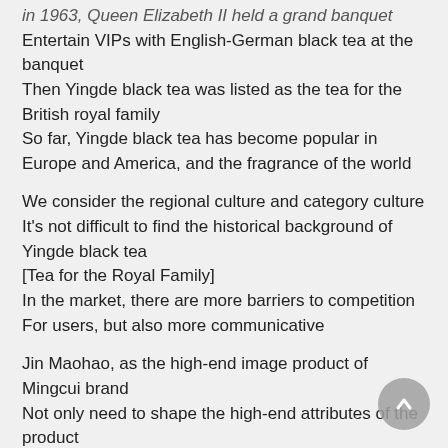in 1963, Queen Elizabeth II held a grand banquet (partial, top cut off)
Entertain VIPs with English-German black tea at the banquet
Then Yingde black tea was listed as the tea for the British royal family
So far, Yingde black tea has become popular in Europe and America, and the fragrance of the world
We consider the regional culture and category culture
It's not difficult to find the historical background of Yingde black tea
[Tea for the Royal Family]
In the market, there are more barriers to competition
For users, but also more communicative
Jin Maohao, as the high-end image product of Mingcui brand
Not only need to shape the high-end attributes of the product
It also needs to have the cultural temperament and tone of the representative brand
To convey the connotative value of nature and history contained in the brand and product
Seize regional culture
Create image products with local core cultural representatives